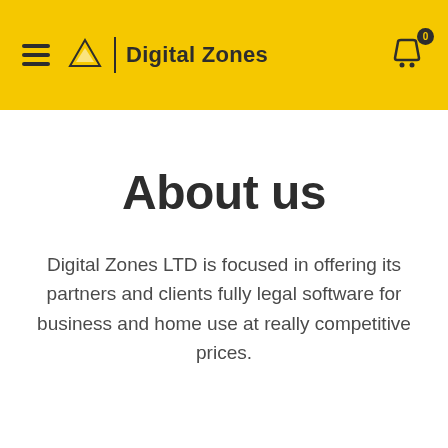Digital Zones
About us
Digital Zones LTD is focused in offering its partners and clients fully legal software for business and home use at really competitive prices.